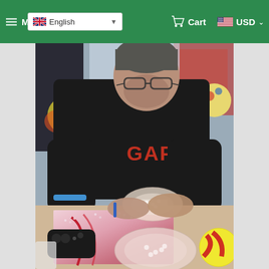Menu  English (language selector)  Cart  USD
[Figure (photo): A man wearing a black GAP hoodie and glasses, leaning over a table and working on a diamond painting craft project. He is placing small gems/diamonds onto a canvas with a pink and red design. There is a clear bowl with beads, a black game controller, and other craft supplies on the wooden table. In the background are colorful decorative items.]